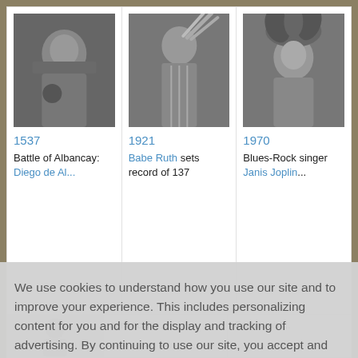[Figure (photo): Black and white photo of a person in historical armor/costume (1537 Battle of Albancay)]
1537
Battle of Albancay: Diego de Al...
[Figure (photo): Black and white photo of Babe Ruth holding baseball bats in Yankees uniform]
1921
Babe Ruth sets record of 137
[Figure (photo): Black and white photo of Janis Joplin with floral headpiece]
1970
Blues-Rock singer Janis Joplin...
We use cookies to understand how you use our site and to improve your experience. This includes personalizing content for you and for the display and tracking of advertising. By continuing to use our site, you accept and agree to our use of cookies.  Privacy Policy
Got it!
contract for...
Communist...